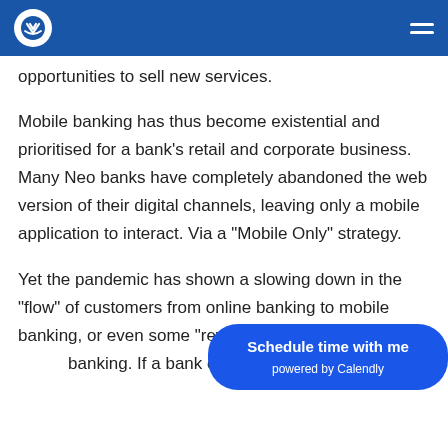Navigation header with logo and hamburger menu
opportunities to sell new services.
Mobile banking has thus become existential and prioritised for a bank’s retail and corporate business. Many Neo banks have completely abandoned the web version of their digital channels, leaving only a mobile application to interact. Via a “Mobile Only” strategy.
Yet the pandemic has shown a slowing down in the “flow” of customers from online banking to mobile banking, or even some “revival” of customer i... banking. If a bank customer is “in constant
Schedule time with me
powered by Calendly